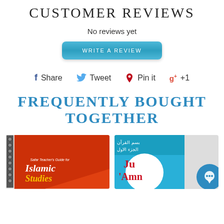CUSTOMER REVIEWS
No reviews yet
[Figure (other): Blue rounded button labeled WRITE A REVIEW]
Share   Tweet   Pin it   +1
FREQUENTLY BOUGHT TOGETHER
[Figure (photo): Book cover: Safar Teacher's Guide for Islamic Studies - orange/red spiral bound book]
[Figure (photo): Book cover: Ju 'Amn - blue cover with Arabic text and white circle, partially visible]